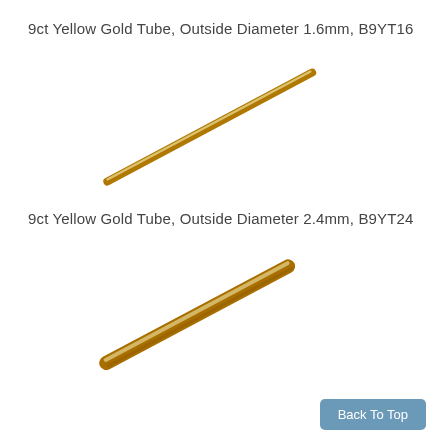9ct Yellow Gold Tube, Outside Diameter 1.6mm, B9YT16
[Figure (photo): Diagonal gold tube, thin, approximately 1.6mm outside diameter, gold color, photographed against white background]
9ct Yellow Gold Tube, Outside Diameter 2.4mm, B9YT24
[Figure (photo): Diagonal gold tube, slightly thicker, approximately 2.4mm outside diameter, gold color, photographed against white background]
Back To Top